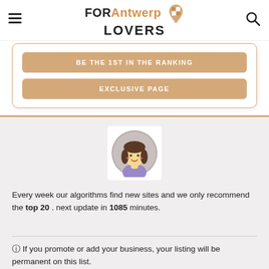FOR Antwerp LOVERS
BE THE 1ST IN THE RANKING
EXCLUSIVE PAGE
[Figure (illustration): Cartoon avatar of a girl with brown hair and purple shirt in a circular grey frame on white background]
Every week our algorithms find new sites and we only recommend the top 20 . next update in 1085 minutes.
ⓘ If you promote or add your business, your listing will be permanent on this list.